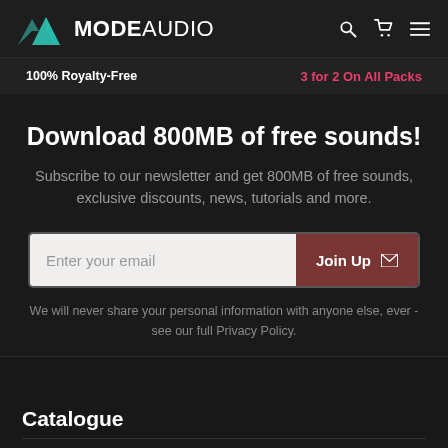MODE AUDIO — with search, cart, and menu icons
100% Royalty-Free    3 for 2 On All Packs
Download 800MB of free sounds!
Subscribe to our newsletter and get 800MB of free sounds, exclusive discounts, news, tutorials and more.
Enter your email  Join Up
We will never share your personal information with anyone else, ever - see our full Privacy Policy.
Catalogue